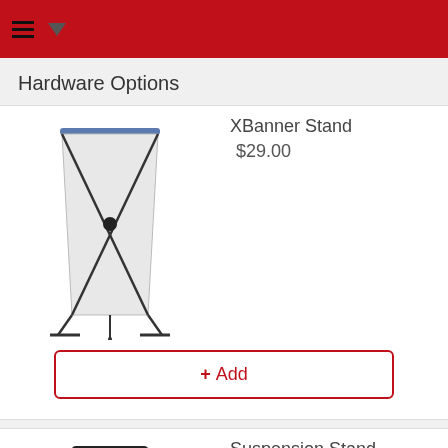Hardware Options
Hardware Options
[Figure (photo): XBanner Stand — a tall rectangular white banner on an X-shaped metal frame stand]
XBanner Stand
$29.00
+ Add
[Figure (photo): Suspension Stand — a rectangular white banner in a black frame, partially visible]
Suspension Stand
$49.00